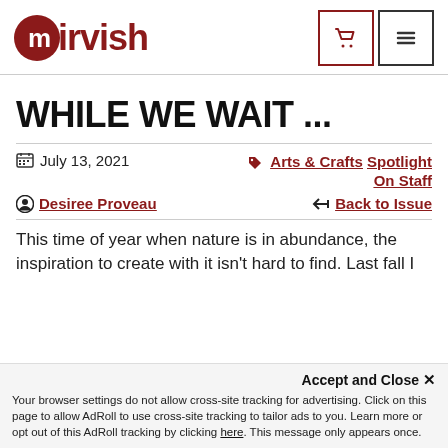mirvish
WHILE WE WAIT ...
July 13, 2021
Arts & Crafts Spotlight On Staff
Desiree Proveau
Back to Issue
This time of year when nature is in abundance, the inspiration to create with it isn't hard to find. Last fall I
Accept and Close ×
Your browser settings do not allow cross-site tracking for advertising. Click on this page to allow AdRoll to use cross-site tracking to tailor ads to you. Learn more or opt out of this AdRoll tracking by clicking here. This message only appears once.